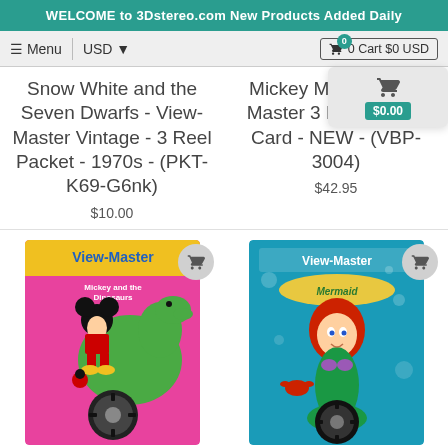WELCOME to 3Dstereo.com New Products Added Daily
≡ Menu  USD  🛒 0 Cart $0 USD
Snow White and the Seven Dwarfs - View-Master Vintage - 3 Reel Packet - 1970s - (PKT-K69-G6nk)
$10.00
Mickey Mouse View-Master 3 Reel Set on Card - NEW - (VBP-3004)
$42.95
[Figure (photo): View-Master product card for Mickey and the Dinosaurs featuring Mickey Mouse with a green dinosaur]
[Figure (photo): View-Master product card for The Little Mermaid featuring Ariel the mermaid]